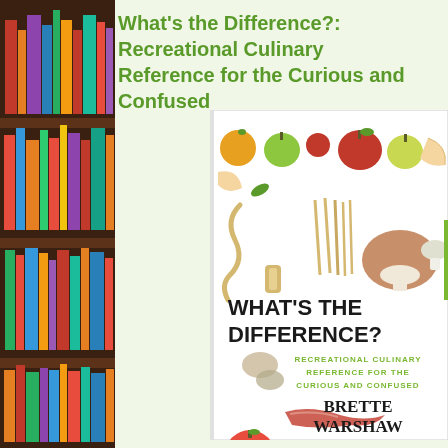[Figure (photo): Bookshelf with colorful books on the left side of the page]
What's the Difference?: Recreational Culinary Reference for the Curious and Confused
[Figure (illustration): Book cover of 'What's the Difference?' by Brette Warshaw, showing illustrations of various foods including fruits, mushrooms, pasta, vegetables, and meats. Text reads: WHAT'S THE DIFFERENCE? RECREATIONAL CULINARY REFERENCE FOR THE CURIOUS AND CONFUSED. BRETTE WARSHAW.]